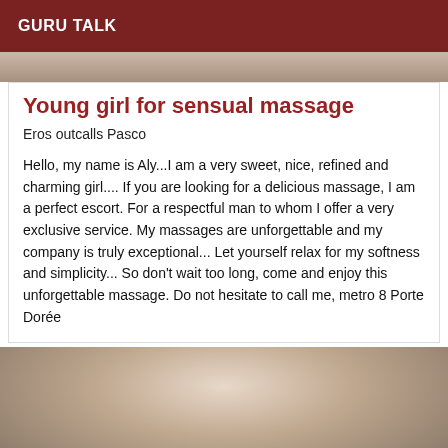GURU TALK
[Figure (photo): Partial photo of a person at the top of the card, cropped]
Young girl for sensual massage
Eros outcalls Pasco
Hello, my name is Aly...I am a very sweet, nice, refined and charming girl.... If you are looking for a delicious massage, I am a perfect escort. For a respectful man to whom I offer a very exclusive service. My massages are unforgettable and my company is truly exceptional... Let yourself relax for my softness and simplicity... So don't wait too long, come and enjoy this unforgettable massage. Do not hesitate to call me, metro 8 Porte Dorée
[Figure (photo): Photo of a woman with long blonde hair wearing a dark lace top]